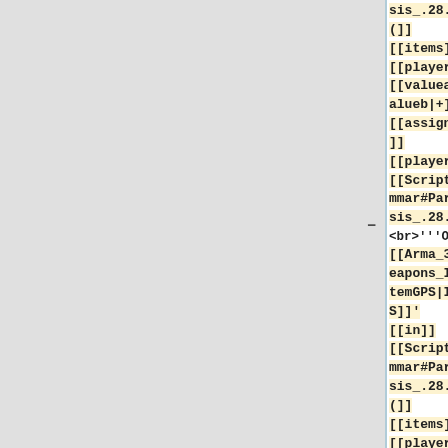sis_.28.29(]] [[items]] [[player]] [[valuea_plus_valueb|+]] [[assignedItems]] [[player]] [[Scripting_Grammar#Parenthesis_.28.29|)]] − <br>'''OR'''<br>' [[Arma_3_CfgWeapons_Items#ItemGPS|ItemGPS]]' [[in]] [[Scripting_Grammar#Parenthesis_.28.29|(]] [[items]] [[player]] [[valuea_plus_valueb|+]] [[assignedItems]]